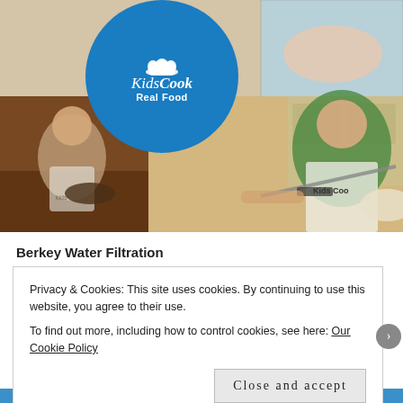[Figure (photo): Photo collage: young boy in apron at kitchen table (left), older boy in green shirt and apron cutting food with knife (right), small food prep image top right. Kids Cook Real Food logo circle in center top.]
Berkey Water Filtration
Privacy & Cookies: This site uses cookies. By continuing to use this website, you agree to their use.
To find out more, including how to control cookies, see here: Our Cookie Policy
Close and accept